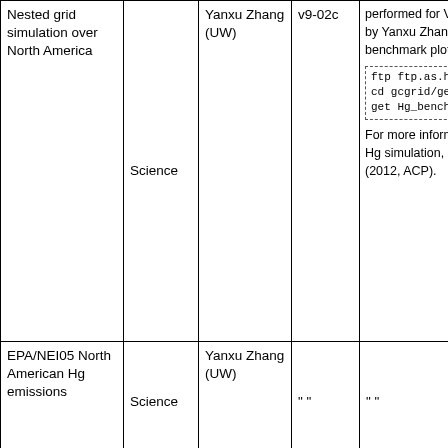| Feature | Type | Contact | Version | Notes |
| --- | --- | --- | --- | --- |
| Nested grid simulation over North America | Science | Yanxu Zhang (UW) | v9-02c | performed for V9-02c a by Yanxu Zhang. A co benchmark plots are av ftp ftp.as.harvard.edu cd gcgrid/geos-chem/Hg get Hg_benchmark_v9-02c For more information o Hg simulation, please s (2012, ACP). |
| EPA/NEI05 North American Hg emissions | Science | Yanxu Zhang (UW) | " " | " " |
| Updated Hg(0) oxidation kinetics | Science | Bess Corbitt (Harvard) | " " | " " |
| Capability to use GEOS | Science | Bess |  |  |